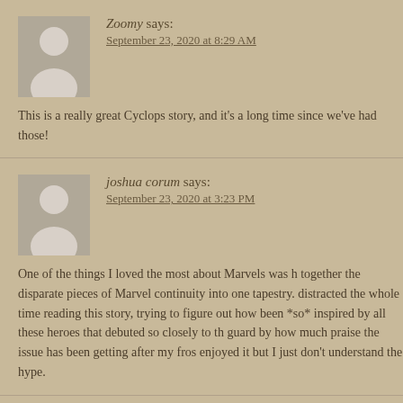Zoomy says:
September 23, 2020 at 8:29 AM
This is a really great Cyclops story, and it's a long time since we've had those!
joshua corum says:
September 23, 2020 at 3:23 PM
One of the things I loved the most about Marvels was how it wove together the disparate pieces of Marvel continuity into one tapestry. I was distracted the whole time reading this story, trying to figure out how Quasar's been *so* inspired by all these heroes that debuted so closely to the... I was caught off guard by how much praise the issue has been getting after my frosty response. I enjoyed it but I just don't understand the hype.
Ben says:
September 23, 2020 at 3:56 PM
What a good comic.